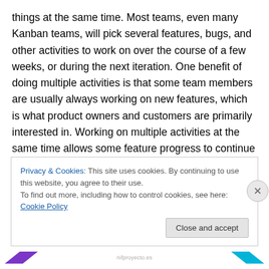things at the same time. Most teams, even many Kanban teams, will pick several features, bugs, and other activities to work on over the course of a few weeks, or during the next iteration. One benefit of doing multiple activities is that some team members are usually always working on new features, which is what product owners and customers are primarily interested in. Working on multiple activities at the same time allows some feature progress to continue even as other team members spend months on DevOps or refactoring activities.
Privacy & Cookies: This site uses cookies. By continuing to use this website, you agree to their use.
To find out more, including how to control cookies, see here: Cookie Policy